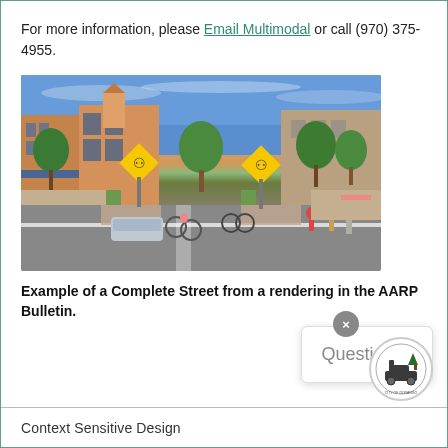For more information, please Email Multimodal or call (970) 375-4955.
[Figure (photo): Street-level rendering of a Complete Street with pedestrians, cyclists, vehicles, crosswalk signs, trees, and mixed-use buildings along both sides.]
Example of a Complete Street from a rendering in the AARP Bulletin.
Questions?
Context Sensitive Design